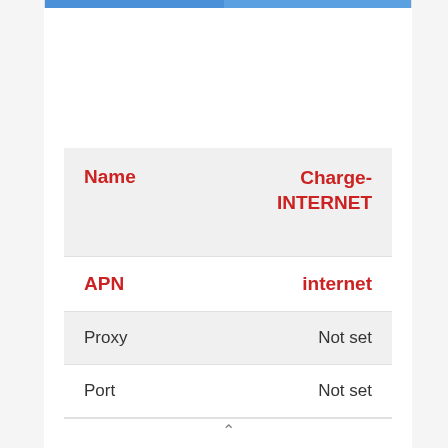| Name | Charge-INTERNET |
| --- | --- |
| APN | internet |
| Proxy | Not set |
| Port | Not set |